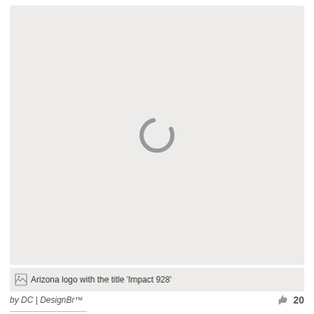[Figure (other): Loading spinner (gray arc) on a light gray background, indicating an image that has not yet loaded (Arizona logo with the title 'Impact 928')]
Arizona logo with the title 'Impact 928'
by DC | DesignBr™
20